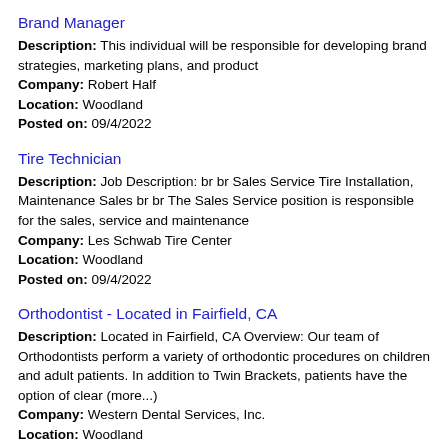Brand Manager
Description: This individual will be responsible for developing brand strategies, marketing plans, and product
Company: Robert Half
Location: Woodland
Posted on: 09/4/2022
Tire Technician
Description: Job Description: br br Sales Service Tire Installation, Maintenance Sales br br The Sales Service position is responsible for the sales, service and maintenance
Company: Les Schwab Tire Center
Location: Woodland
Posted on: 09/4/2022
Orthodontist - Located in Fairfield, CA
Description: Located in Fairfield, CA Overview: Our team of Orthodontists perform a variety of orthodontic procedures on children and adult patients. In addition to Twin Brackets, patients have the option of clear (more...)
Company: Western Dental Services, Inc.
Location: Woodland
Posted on: 09/4/2022